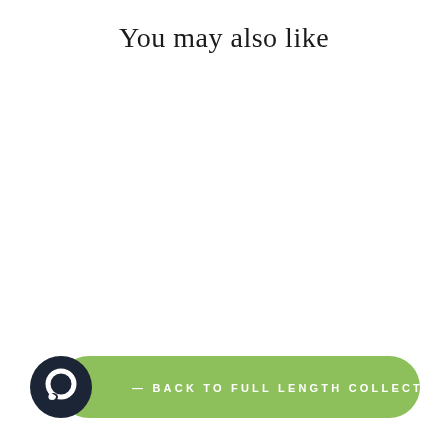You may also like
[Figure (infographic): Green rounded button bar with dark navy circle icon on left containing a speech bubble/circle symbol. Text reads '— BACK TO FULL LENGTH COLLECTION' in white uppercase spaced letters on green background.]